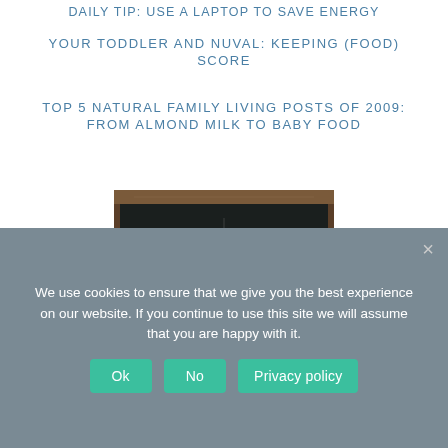DAILY TIP: USE A LAPTOP TO SAVE ENERGY
YOUR TODDLER AND NUVAL: KEEPING (FOOD) SCORE
TOP 5 NATURAL FAMILY LIVING POSTS OF 2009: FROM ALMOND MILK TO BABY FOOD
[Figure (photo): A chalkboard menu or notice board mounted on wood, with white chalk writing listing items, photographed in low light.]
STUDY FINDS EATING ORGANIC FOOD REDUCES CANCER RISK BY 25%
We use cookies to ensure that we give you the best experience on our website. If you continue to use this site we will assume that you are happy with it.
Ok   No   Privacy policy